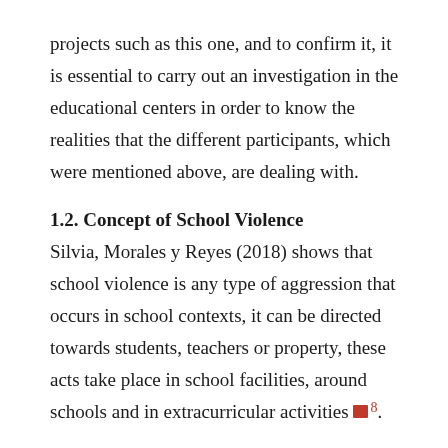projects such as this one, and to confirm it, it is essential to carry out an investigation in the educational centers in order to know the realities that the different participants, which were mentioned above, are dealing with.
1.2. Concept of School Violence
Silvia, Morales y Reyes (2018) shows that school violence is any type of aggression that occurs in school contexts, it can be directed towards students, teachers or property, these acts take place in school facilities, around schools and in extracurricular activities [ref]8.
At the same time, Santoyo y Frías (2014) [ref]9 mention that school violence encompasses all